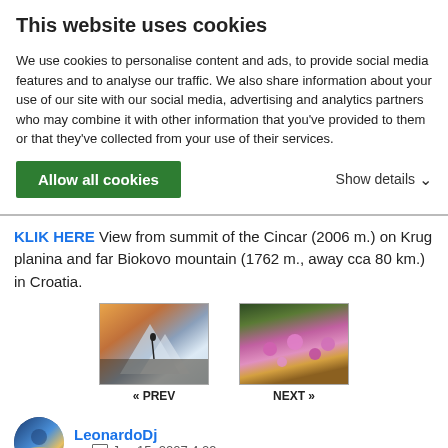This website uses cookies
We use cookies to personalise content and ads, to provide social media features and to analyse our traffic. We also share information about your use of our site with our social media, advertising and analytics partners who may combine it with other information that you've provided to them or that they've collected from your use of their services.
Allow all cookies | Show details
KLIK HERE View from summit of the Cincar (2006 m.) on Krug planina and far Biokovo mountain (1762 m., away cca 80 km.) in Croatia.
[Figure (photo): Two thumbnail images: left shows a mountain snow scene with a figure and orange sunset, labeled « PREV; right shows pink flowers in autumn foliage, labeled NEXT »]
LeonardoDj on Jan 15, 2007 4:09 pm
Comments & voting
Other parents